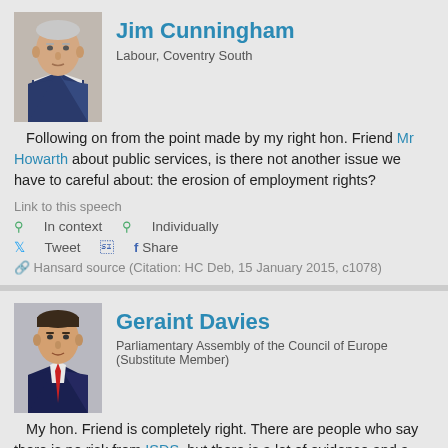Jim Cunningham
Labour, Coventry South
Following on from the point made by my right hon. Friend Mr Howarth about public services, is there not another issue we have to careful about: the erosion of employment rights?
Link to this speech
⚲ In context  ⚲ Individually
Tweet  Share
⚲ Hansard source (Citation: HC Deb, 15 January 2015, c1078)
Geraint Davies
Parliamentary Assembly of the Council of Europe (Substitute Member)
My hon. Friend is completely right. There are people who say there is no risk from ISDS, but there is a lot of evidence and a track record of multinationals using the powers at their disposal to extract money where laws are passed undermining future profit flows. Philip Morris is the obvious example: it is suing Uruguay and Australia for something like $100 million. Lone Pine is suing the Canadian Government